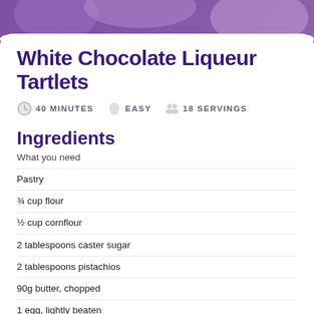[Figure (photo): Purple floral/food photo banner at top of page]
White Chocolate Liqueur Tartlets
40 MINUTES  EASY  18 SERVINGS
Ingredients
What you need
Pastry
¾ cup flour
½ cup cornflour
2 tablespoons caster sugar
2 tablespoons pistachios
90g butter, chopped
1 egg, lightly beaten
2 tablespoons chilled water